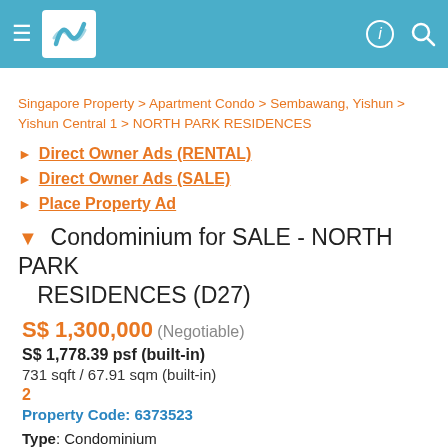≡ [logo] ⓘ 🔍
Singapore Property > Apartment Condo > Sembawang, Yishun > Yishun Central 1 > NORTH PARK RESIDENCES
▶ Direct Owner Ads (RENTAL)
▶ Direct Owner Ads (SALE)
▶ Place Property Ad
▼ Condominium for SALE - NORTH PARK RESIDENCES (D27)
S$ 1,300,000 (Negotiable)
S$ 1,778.39 psf (built-in)
731 sqft / 67.91 sqm (built-in)
2
Property Code: 6373523
Type: Condominium